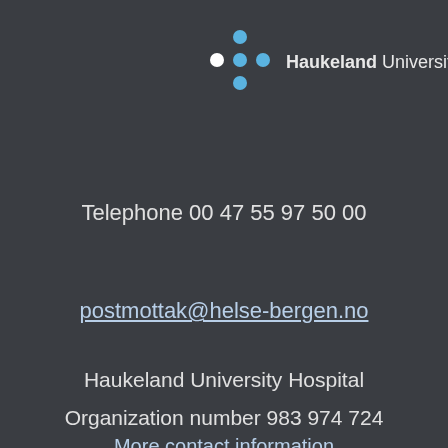[Figure (logo): Haukeland University Hospital logo with blue dot grid pattern and text]
Telephone 00 47 55 97 50 00
postmottak@helse-bergen.no
Haukeland University Hospital
Organization number 983 974 724
More contact information